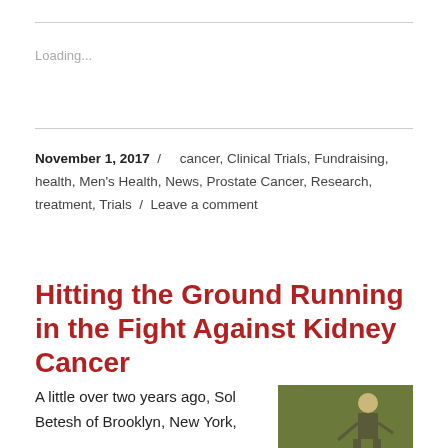Loading...
November 1, 2017 / cancer, Clinical Trials, Fundraising, health, Men's Health, News, Prostate Cancer, Research, treatment, Trials / Leave a comment
Hitting the Ground Running in the Fight Against Kidney Cancer
A little over two years ago, Sol Betesh of Brooklyn, New York,
[Figure (photo): Elderly man photographed in front of a green/olive background]